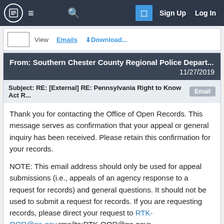Sign Up  Log In
From: Southern Chester County Regional Police Depart...  11/27/2019
Subject: RE: [External] RE: Pennsylvania Right to Know Act R...  Email
Thank you for contacting the Office of Open Records. This message serves as confirmation that your appeal or general inquiry has been received. Please retain this confirmation for your records.
NOTE: This email address should only be used for appeal submissions (i.e., appeals of an agency response to a request for records) and general questions. It should not be used to submit a request for records. If you are requesting records, please direct your request to RTK-OOR@pa.gov<mailto:RTK-OOR@pa.gov>.